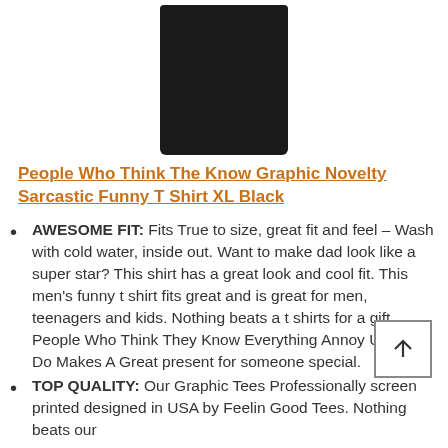[Figure (photo): Partial view of a black t-shirt product image at the top of the page]
People Who Think The Know Graphic Novelty Sarcastic Funny T Shirt XL Black
AWESOME FIT: Fits True to size, great fit and feel – Wash with cold water, inside out. Want to make dad look like a super star? This shirt has a great look and cool fit. This men's funny t shirt fits great and is great for men, teenagers and kids. Nothing beats a t shirts for a gift. People Who Think They Know Everything Annoy Us That Do Makes A Great present for someone special.
TOP QUALITY: Our Graphic Tees Professionally screen printed designed in USA by Feelin Good Tees. Nothing beats our